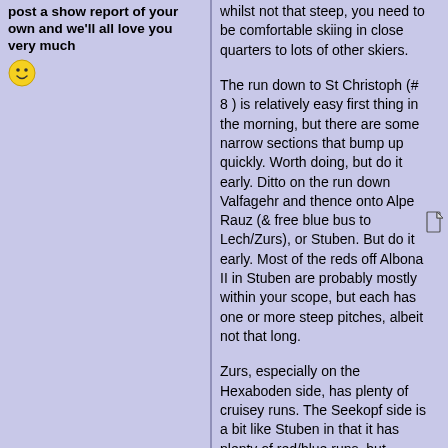post a show report of your own and we'll all love you very much 🙂
whilst not that steep, you need to be comfortable skiing in close quarters to lots of other skiers.

The run down to St Christoph (# 8 ) is relatively easy first thing in the morning, but there are some narrow sections that bump up quickly. Worth doing, but do it early. Ditto on the run down Valfagehr and thence onto Alpe Rauz (& free blue bus to Lech/Zurs), or Stuben. But do it early. Most of the reds off Albona II in Stuben are probably mostly within your scope, but each has one or more steep pitches, albeit not that long.

Zurs, especially on the Hexaboden side, has plenty of cruisey runs. The Seekopf side is a bit like Stuben in that it has plenty of red/blue runs, but virtually all